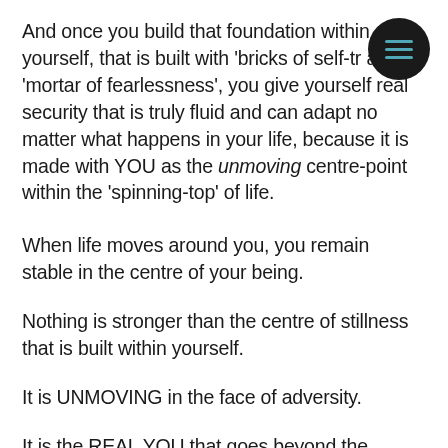And once you build that foundation within yourself, that is built with 'bricks of self-tr… and 'mortar of fearlessness', you give yourself real security that is truly fluid and can adapt no matter what happens in your life, because it is made with YOU as the unmoving centre-point within the 'spinning-top' of life.
When life moves around you, you remain stable in the centre of your being.
Nothing is stronger than the centre of stillness that is built within yourself.
It is UNMOVING in the face of adversity.
It is the REAL YOU that goes beyond the limiting fears and worries of who you are currently pretending to be.